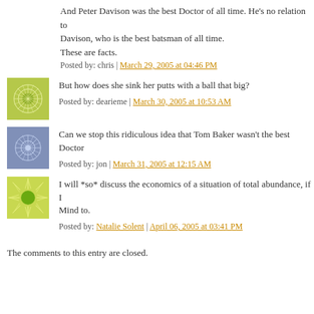And Peter Davison was the best Doctor of all time. He's no relation to Davison, who is the best batsman of all time. These are facts.
Posted by: chris | March 29, 2005 at 04:46 PM
[Figure (illustration): Green geometric square avatar with circular pattern]
But how does she sink her putts with a ball that big?
Posted by: dearieme | March 30, 2005 at 10:53 AM
[Figure (illustration): Blue/purple geometric square avatar with star/snowflake pattern]
Can we stop this ridiculous idea that Tom Baker wasn't the best Doctor
Posted by: jon | March 31, 2005 at 12:15 AM
[Figure (illustration): Green sunburst square avatar with circle center]
I will *so* discuss the economics of a situation of total abundance, if I Mind to.
Posted by: Natalie Solent | April 06, 2005 at 03:41 PM
The comments to this entry are closed.